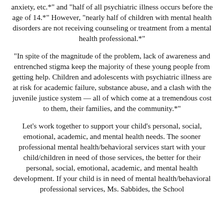anxiety, etc.*" and "half of all psychiatric illness occurs before the age of 14.*" However, "nearly half of children with mental health disorders are not receiving counseling or treatment from a mental health professional.*"
"In spite of the magnitude of the problem, lack of awareness and entrenched stigma keep the majority of these young people from getting help. Children and adolescents with psychiatric illness are at risk for academic failure, substance abuse, and a clash with the juvenile justice system — all of which come at a tremendous cost to them, their families, and the community.*"
Let's work together to support your child's personal, social, emotional, academic, and mental health needs. The sooner professional mental health/behavioral services start with your child/children in need of those services, the better for their personal, social, emotional, academic, and mental health development. If your child is in need of mental health/behavioral professional services, Ms. Sabbides, the School